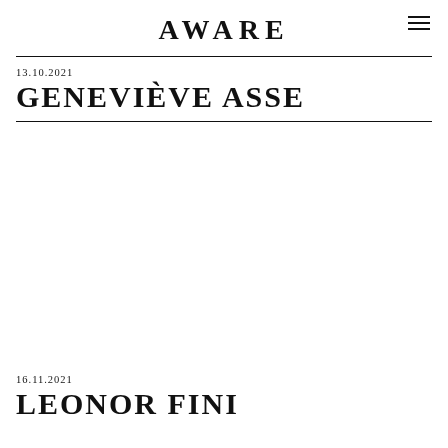AWARE
13.10.2021
GENEVIÈVE ASSE
16.11.2021
LEONOR FINI